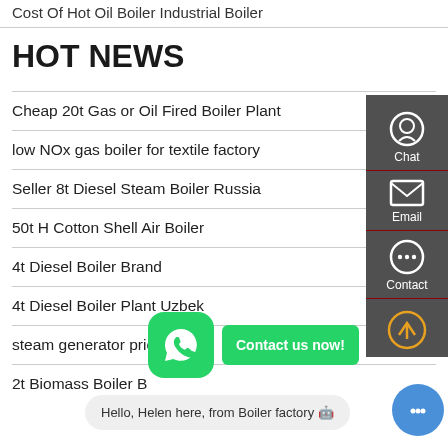Cost Of Hot Oil Boiler Industrial Boiler
HOT NEWS
Cheap 20t Gas or Oil Fired Boiler Plant
low NOx gas boiler for textile factory
Seller 8t Diesel Steam Boiler Russia
50t H Cotton Shell Air Boiler
4t Diesel Boiler Brand
4t Diesel Boiler Plant Uzbek...
steam generator prices
2t Biomass Boiler B...